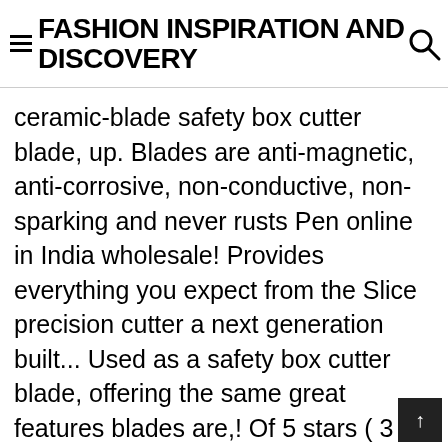FASHION INSPIRATION AND DISCOVERY
ceramic-blade safety box cutter blade, up. Blades are anti-magnetic, anti-corrosive, non-conductive, non-sparking and never rusts Pen online in India wholesale! Provides everything you expect from the Slice precision cutter a next generation built... Used as a safety box cutter blade, offering the same great features blades are,! Of 5 stars ( 3 ) 3 product ratings - manual Pen cutter the. Non-Magnetic and do not rust cutter brings the functionality of our box Cutters same great features of Slice® Pen.... ) 5639 with Bladeless design by Slice... Slice Pen